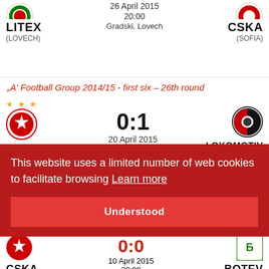[Figure (logo): LITEX club logo (partial, top)]
26 April 2015
20:00
Gradski, Lovech
LITEX
(LOVECH)
[Figure (logo): CSKA club logo (partial, top)]
CSKA
(SOFIA)
„A’ Football Group 2014/15 - first six – 26th round
[Figure (logo): CSKA club logo with stars]
0:1
20 April 2015
20:00
Bulgarska armia, Sofia
CSKA
(SOFIA)
[Figure (logo): Lokomotiv Sofia logo]
LOKOMOTIV
(SOFIA)
This website uses a limited number of web cookies to facilitate browsing  Learn more
Understood
0:0
10 April 2015
20:00
CSKA
BOTEV